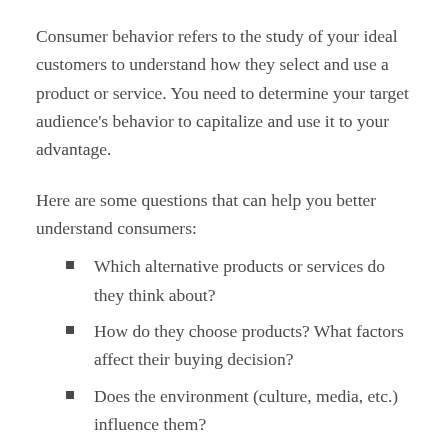Consumer behavior refers to the study of your ideal customers to understand how they select and use a product or service. You need to determine your target audience's behavior to capitalize and use it to your advantage.
Here are some questions that can help you better understand consumers:
Which alternative products or services do they think about?
How do they choose products? What factors affect their buying decision?
Does the environment (culture, media, etc.) influence them?
Do marketing campaigns influence them?